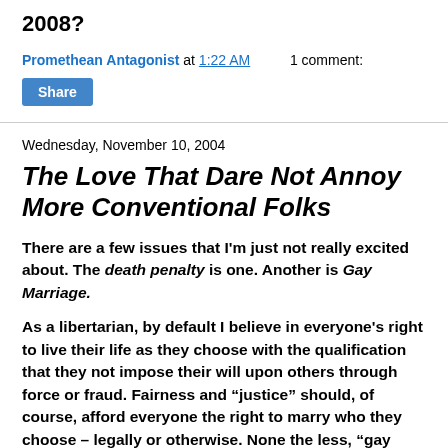2008?
Promethean Antagonist at 1:22 AM    1 comment:
Share
Wednesday, November 10, 2004
The Love That Dare Not Annoy More Conventional Folks
There are a few issues that I'm just not really excited about. The death penalty is one. Another is Gay Marriage.
As a libertarian, by default I believe in everyone's right to live their life as they choose with the qualification that they not impose their will upon others through force or fraud. Fairness and “justice” should, of course, afford everyone the right to marry who they choose – legally or otherwise. None the less, “gay marriage” is a new concept for most people.